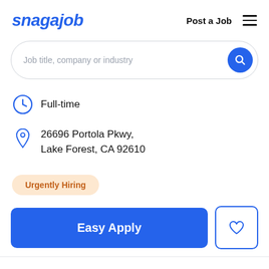snagajob   Post a Job  ☰
[Figure (screenshot): Search bar with placeholder text 'Job title, company or industry' and a blue circular search button]
Full-time
26696 Portola Pkwy, Lake Forest, CA 92610
Urgently Hiring
Easy Apply